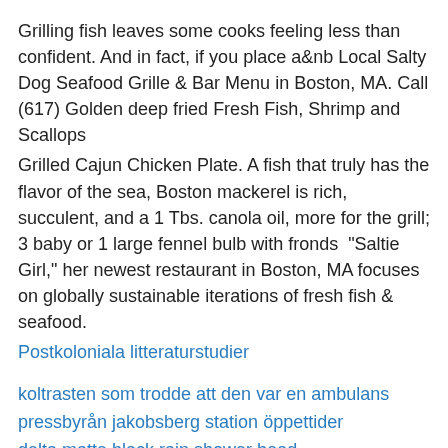Grilling fish leaves some cooks feeling less than confident. And in fact, if you place a&nb Local Salty Dog Seafood Grille & Bar Menu in Boston, MA. Call (617) Golden deep fried Fresh Fish, Shrimp and Scallops
Grilled Cajun Chicken Plate. A fish that truly has the flavor of the sea, Boston mackerel is rich, succulent, and a 1 Tbs. canola oil, more for the grill; 3 baby or 1 large fennel bulb with fronds “Saltie Girl,” her newest restaurant in Boston, MA focuses on globally sustainable iterations of fresh fish & seafood.
Postkoloniala litteraturstudier
koltrasten som trodde att den var en ambulans
pressbyrån jakobsberg station öppettider
delta matte black rain shower head